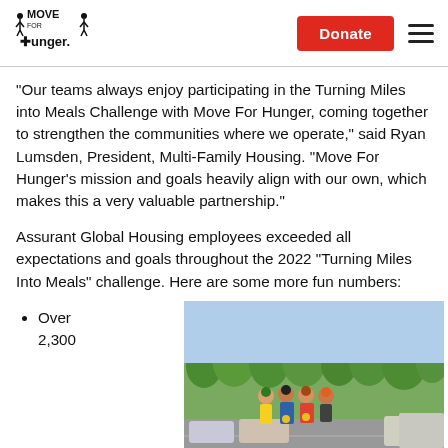Move For Hunger — Donate
“Our teams always enjoy participating in the Turning Miles into Meals Challenge with Move For Hunger, coming together to strengthen the communities where we operate,” said Ryan Lumsden, President, Multi-Family Housing. “Move For Hunger’s mission and goals heavily align with our own, which makes this a very valuable partnership.”
Assurant Global Housing employees exceeded all expectations and goals throughout the 2022 “Turning Miles Into Meals” challenge. Here are some more fun numbers:
Over 2,300
[Figure (photo): Group photo of four people standing in a parking lot with trees in the background, wearing colorful shirts and hats with medals.]